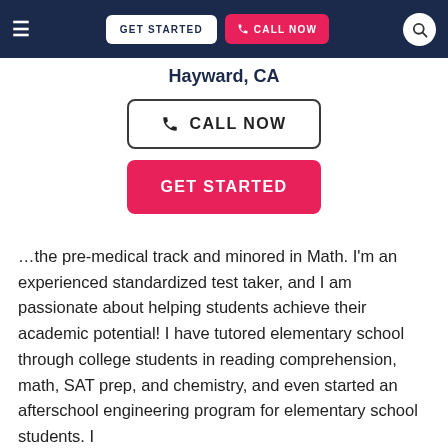GET STARTED | CALL NOW
Hayward, CA
CALL NOW
GET STARTED
…the pre-medical track and minored in Math. I'm an experienced standardized test taker, and I am passionate about helping students achieve their academic potential! I have tutored elementary school through college students in reading comprehension, math, SAT prep, and chemistry, and even started an afterschool engineering program for elementary school students. I